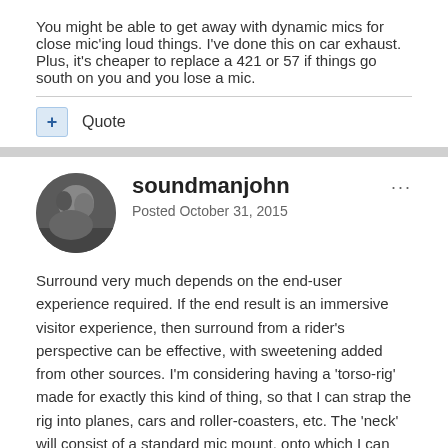You might be able to get away with dynamic mics for close mic'ing loud things. I've done this on car exhaust. Plus, it's cheaper to replace a 421 or 57 if things go south on you and you lose a mic.
+ Quote
soundmanjohn
Posted October 31, 2015
Surround very much depends on the end-user experience required. If the end result is an immersive visitor experience, then surround from a rider's perspective can be effective, with sweetening added from other sources. I'm considering having a 'torso-rig' made for exactly this kind of thing, so that I can strap the rig into planes, cars and roller-coasters, etc. The 'neck' will consist of a standard mic mount, onto which I can put a Soundfield or a DPA 5100, a Neuman KU-100 or a Sennheiser Esfera System, all of which I have access to. The torso will have a cavity into which my SD788 can be strapped securely, and monitoring will be via Wi-Fi.